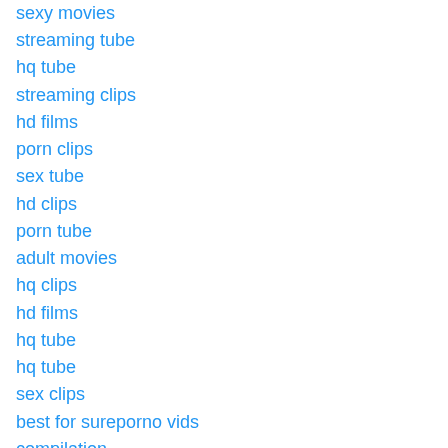sexy movies
streaming tube
hq tube
streaming clips
hd films
porn clips
sex tube
hd clips
porn tube
adult movies
hq clips
hd films
hq tube
hq tube
sex clips
best for sureporno vids
compilation
hd tube
xxx films